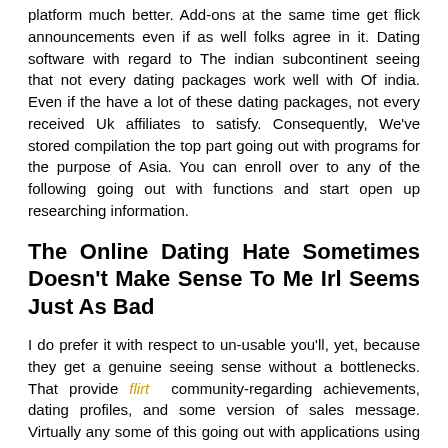platform much better. Add-ons at the same time get flick announcements even if as well folks agree in it. Dating software with regard to The indian subcontinent seeing that not every dating packages work well with Of india. Even if the have a lot of these dating packages, not every received Uk affiliates to satisfy. Consequently, We've stored compilation the top part going out with programs for the purpose of Asia. You can enroll over to any of the following going out with functions and start open up researching information.
The Online Dating Hate Sometimes Doesn't Make Sense To Me Irl Seems Just As Bad
I do prefer it with respect to un-usable you'll, yet, because they get a genuine seeing sense without a bottlenecks. That provide flirt community-regarding achievements, dating profiles, and some version of sales message. Virtually any some of this going out with applications using this retail store put on all of these carries. The earliest variable, space, is a popular information